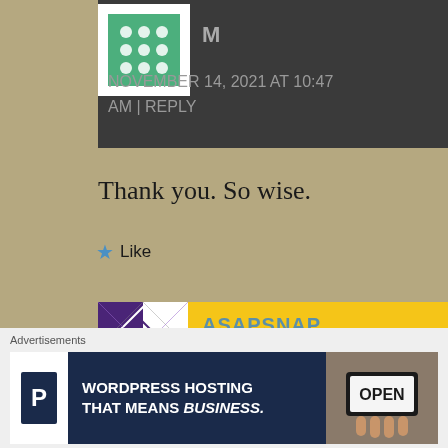[Figure (other): Green dot-grid avatar icon for commenter M]
M
NOVEMBER 14, 2021 AT 10:47 AM | REPLY
Thank you. So wise.
★ Like
[Figure (other): Purple geometric pattern avatar for ASAPSNAP]
ASAPSNAP
NOVEMBER 14, 2021 AT 9:50
Advertisements
[Figure (other): WordPress Hosting That Means BUSINESS. advertisement banner with P logo and OPEN sign photo]